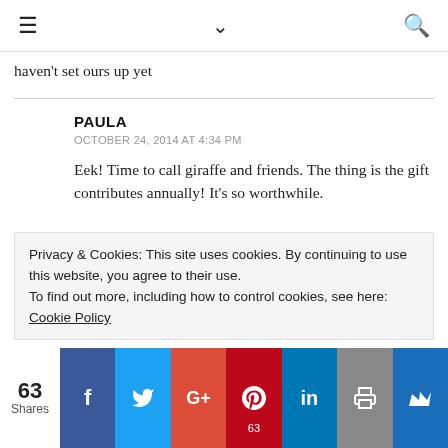≡  ∨  🔍
haven't set ours up yet
PAULA
OCTOBER 24, 2014 AT 4:34 PM
Eek! Time to call giraffe and friends. The thing is the gift contributes annually! It's so worthwhile.
Privacy & Cookies: This site uses cookies. By continuing to use this website, you agree to their use.
To find out more, including how to control cookies, see here: Cookie Policy
63 Shares